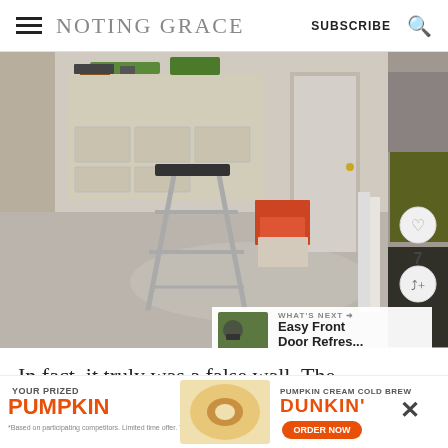NOTING GRACE | SUBSCRIBE
[Figure (photo): Room in the process of renovation: wooden dresser with plants on top, metal stepladder, boxes and tools scattered on concrete floor, open doorway with framing visible, shelving unit with items on the right side.]
WHAT'S NEXT →
Easy Front Door Refres...
In fact, it truly was a false wall. The
[Figure (infographic): Advertisement banner: YOUR PRIZED PUMPKIN | Dunkin' Pumpkin Cream Cold Brew | ORDER NOW]